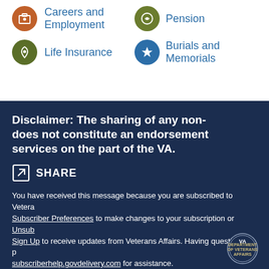Careers and Employment
Pension
Life Insurance
Burials and Memorials
Disclaimer: The sharing of any non- does not constitute an endorsement services on the part of the VA.
SHARE
You have received this message because you are subscribed to Vetera... Subscriber Preferences to make changes to your subscription or Unsub... Sign Up to receive updates from Veterans Affairs. Having questions or p... subscriberhelp.govdelivery.com for assistance.
If you are in crisis and need immediate help, please call 1-800-273-825... http://www.veteranscrisisline.net/.
Please remember the only secure way to ask personal questions is at h...
[Figure (logo): VA seal/logo at bottom right]